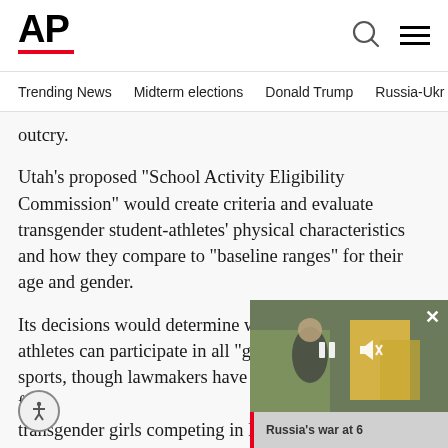AP
Trending News   Midterm elections   Donald Trump   Russia-Ukr
outcry.
Utah's proposed “School Activity Eligibility Commission” would create criteria and evaluate transgender student-athletes’ physical characteristics and how they compare to “baseline ranges” for their age and gender.
Its decisions would determine whi… athletes can participate in all “gen… sports, though lawmakers have foc… transgender girls competing in lea… g… identity.
[Figure (screenshot): Video overlay showing people outdoors with a caption bar reading 'Russia’s war at 6' with a red left border strip, pause/mute controls, and close button.]